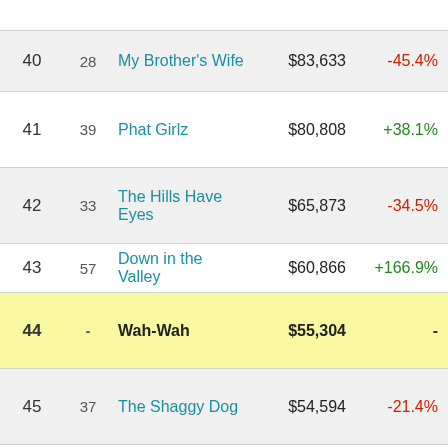| Rank | Prev | Title | Gross | Change |
| --- | --- | --- | --- | --- |
| 40 | 28 | My Brother's Wife | $83,633 | -45.4% |
| 41 | 39 | Phat Girlz | $80,808 | +38.1% |
| 42 | 33 | The Hills Have Eyes | $65,873 | -34.5% |
| 43 | 57 | Down in the Valley | $60,866 | +166.9% |
| 44 | - | Wah-Wah | $55,304 | - |
| 45 | 37 | The Shaggy Dog | $54,594 | -21.4% |
| 46 | 36 | Wild Safari - A South African Adventure | $51,227 | -26.8% |